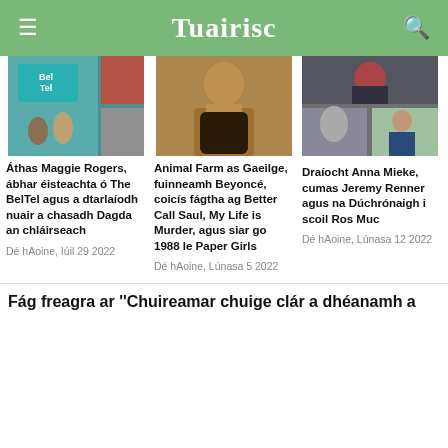Tuairisc
[Figure (photo): Photo collage: BelTel sign with two people, Beyoncé portrait, and two smaller photos of people]
Áthas Maggie Rogers, ábhar éisteachta ó The BelTel agus a dtarlaíodh nuair a chasadh Dagda an chláirseach
Dé hAoine, Iúil 29 2022
Animal Farm as Gaeilge, fuinneamh Beyoncé, coicís fágtha ag Better Call Saul, My Life is Murder, agus siar go 1988 le Paper Girls
Dé hAoine, Lúnasa 5 2022
Draíocht Anna Mieke, cumas Jeremy Renner agus na Dúchrónaigh i scoil Ros Muc
Dé hAoine, Lúnasa 12 2022
Fág freagra ar ''Chuireamar chuige clár a dhéanamh a